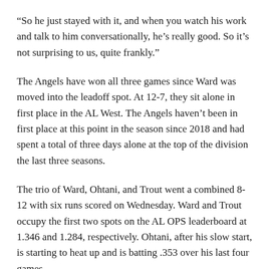“So he just stayed with it, and when you watch his work and talk to him conversationally, he’s really good. So it’s not surprising to us, quite frankly.”
The Angels have won all three games since Ward was moved into the leadoff spot. At 12-7, they sit alone in first place in the AL West. The Angels haven’t been in first place at this point in the season since 2018 and had spent a total of three days alone at the top of the division the last three seasons.
The trio of Ward, Ohtani, and Trout went a combined 8-12 with six runs scored on Wednesday. Ward and Trout occupy the first two spots on the AL OPS leaderboard at 1.346 and 1.284, respectively. Ohtani, after his slow start, is starting to heat up and is batting .353 over his last four games.